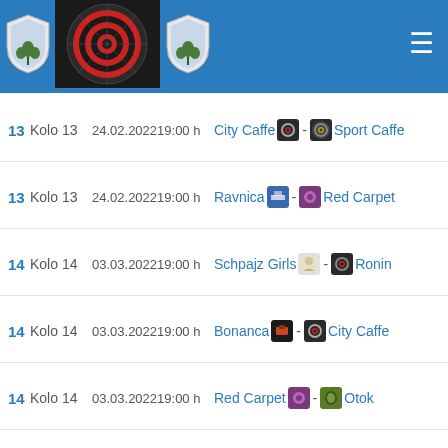[Figure (logo): Sports league header with shield logos and dartboard image on blue background]
13 Kolo 13 24.02.202219:00 h City Caffe - Sport Caffe
13 Kolo 13 24.02.202219:00 h Ravnica - Red Carpet
14 Kolo 14 03.03.202219:00 h Schpajz Girls - Ronin
14 Kolo 14 03.03.202219:00 h Bonanca - City Caffe
14 Kolo 14 03.03.202219:00 h Red Carpet - Otok
14 Kolo 14 03.03.202219:00 h Sport Caffe - Ravnica